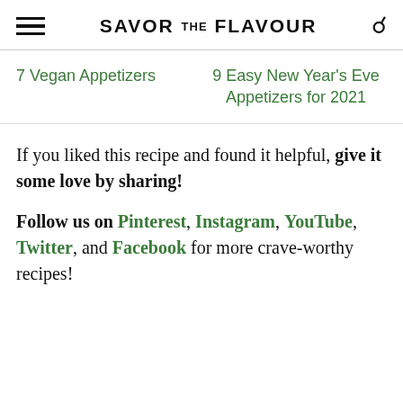SAVOR THE FLAVOUR
7 Vegan Appetizers
9 Easy New Year's Eve Appetizers for 2021
If you liked this recipe and found it helpful, give it some love by sharing!
Follow us on Pinterest, Instagram, YouTube, Twitter, and Facebook for more crave-worthy recipes!